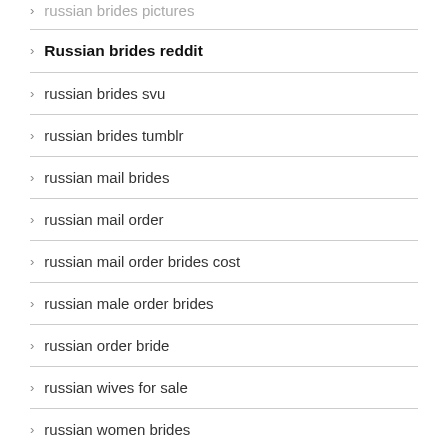russian brides pictures
Russian brides reddit
russian brides svu
russian brides tumblr
russian mail brides
russian mail order
russian mail order brides cost
russian male order brides
russian order bride
russian wives for sale
russian women brides
russian women date finder